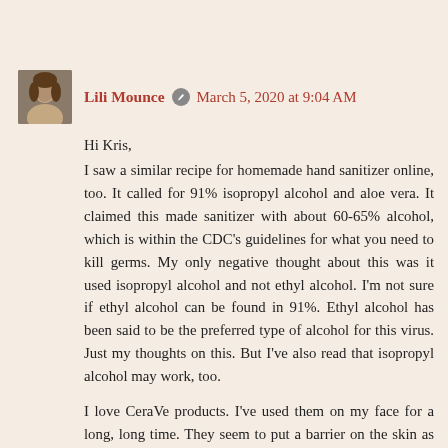Lili Mounce ✏ March 5, 2020 at 9:04 AM
Hi Kris,
I saw a similar recipe for homemade hand sanitizer online, too. It called for 91% isopropyl alcohol and aloe vera. It claimed this made sanitizer with about 60-65% alcohol, which is within the CDC's guidelines for what you need to kill germs. My only negative thought about this was it used isopropyl alcohol and not ethyl alcohol. I'm not sure if ethyl alcohol can be found in 91%. Ethyl alcohol has been said to be the preferred type of alcohol for this virus. Just my thoughts on this. But I've also read that isopropyl alcohol may work, too.

I love CeraVe products. I've used them on my face for a long, long time. They seem to put a barrier on the skin as well, but feel lighter than my Norwegian formula.

Thank you, Kris. I am hoping he can work from home for several weeks, too. Parking in downtown Seattle is hard to